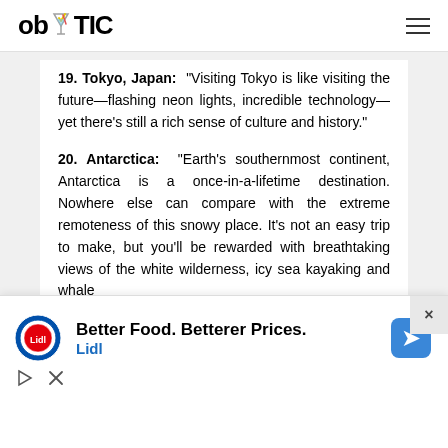ob TIC
19. Tokyo, Japan: "Visiting Tokyo is like visiting the future—flashing neon lights, incredible technology—yet there's still a rich sense of culture and history."
20. Antarctica: "Earth's southernmost continent, Antarctica is a once-in-a-lifetime destination. Nowhere else can compare with the extreme remoteness of this snowy place. It's not an easy trip to make, but you'll be rewarded with breathtaking views of the white wilderness, icy sea kayaking and whale
[Figure (infographic): Advertisement banner for Lidl: 'Better Food. Betterer Prices. Lidl' with Lidl logo and navigation/directions icon. Has a close button (x) and play icon.]